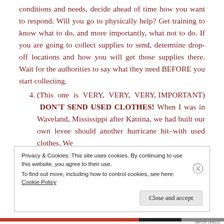conditions and needs, decide ahead of time how you want to respond. Will you go to physically help? Get training to know what to do, and more importantly, what not to do. If you are going to collect supplies to send, determine drop-off locations and how you will get those supplies there. Wait for the authorities to say what they need BEFORE you start collecting.
4. (This one is VERY, VERY, VERY, IMPORTANT) DON'T SEND USED CLOTHES! When I was in Waveland, Mississippi after Katrina, we had built our own levee should another hurricane hit–with used clothes. We
Privacy & Cookies: This site uses cookies. By continuing to use this website, you agree to their use. To find out more, including how to control cookies, see here: Cookie Policy
Close and accept